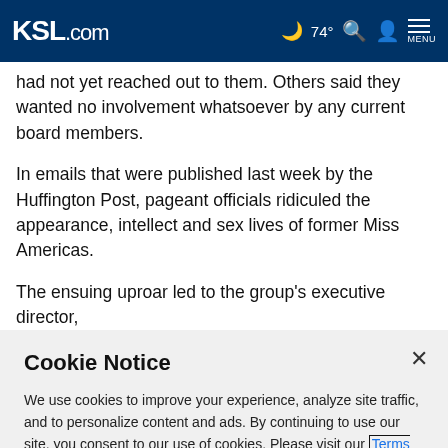KSL.com  ☁ 74°  🔍  👤  MENU
had not yet reached out to them. Others said they wanted no involvement whatsoever by any current board members.
In emails that were published last week by the Huffington Post, pageant officials ridiculed the appearance, intellect and sex lives of former Miss Americas.
The ensuing uproar led to the group's executive director,
Cookie Notice
We use cookies to improve your experience, analyze site traffic, and to personalize content and ads. By continuing to use our site, you consent to our use of cookies. Please visit our Terms of Use and Privacy Policy for more information.
Continue